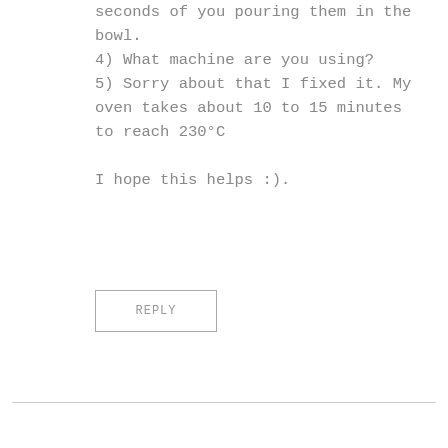seconds of you pouring them in the bowl.
4) What machine are you using?
5) Sorry about that I fixed it. My oven takes about 10 to 15 minutes to reach 230°C

I hope this helps :).
REPLY